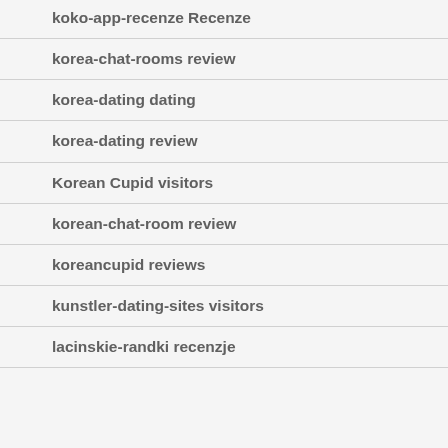koko-app-recenze Recenze
korea-chat-rooms review
korea-dating dating
korea-dating review
Korean Cupid visitors
korean-chat-room review
koreancupid reviews
kunstler-dating-sites visitors
lacinskie-randki recenzje